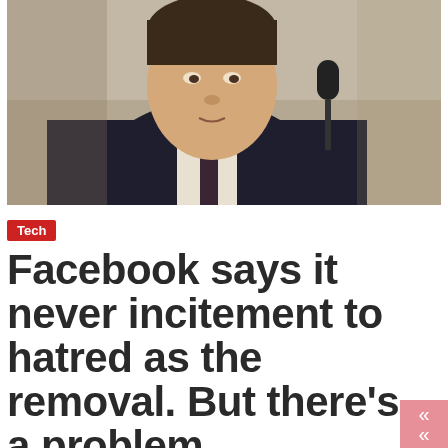[Figure (photo): Man in dark suit speaking at what appears to be a congressional hearing, with a microphone visible in the foreground. Background shows blurred wood paneling. The subject appears to be Mark Zuckerberg.]
Tech
Facebook says it never incitement to hatred as the removal. But there's a problem